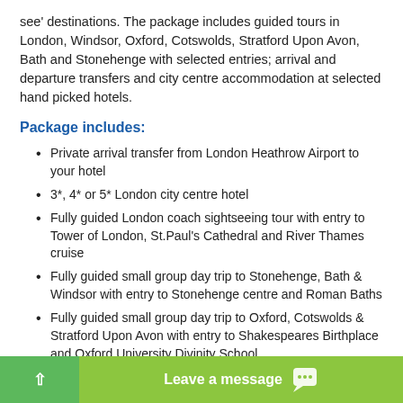see' destinations. The package includes guided tours in London, Windsor, Oxford, Cotswolds, Stratford Upon Avon, Bath and Stonehenge with selected entries; arrival and departure transfers and city centre accommodation at selected hand picked hotels.
Package includes:
Private arrival transfer from London Heathrow Airport to your hotel
3*, 4* or 5* London city centre hotel
Fully guided London coach sightseeing tour with entry to Tower of London, St.Paul's Cathedral and River Thames cruise
Fully guided small group day trip to Stonehenge, Bath & Windsor with entry to Stonehenge centre and Roman Baths
Fully guided small group day trip to Oxford, Cotswolds & Stratford Upon Avon with entry to Shakespeares Birthplace and Oxford University Divinity School
Leave a message